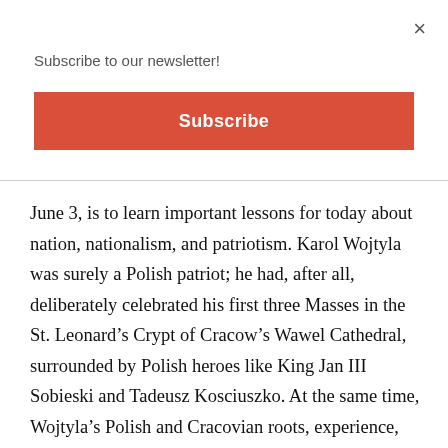×
Subscribe to our newsletter!
Subscribe
June 3, is to learn important lessons for today about nation, nationalism, and patriotism. Karol Wojtyla was surely a Polish patriot; he had, after all, deliberately celebrated his first three Masses in the St. Leonard’s Crypt of Cracow’s Wawel Cathedral, surrounded by Polish heroes like King Jan III Sobieski and Tadeusz Kosciuszko. At the same time, Wojtyla’s Polish and Cracovian roots, experience, and loyalties led him to an appreciation of the spiritual unity of the Slavic peoples, and indeed of the cultural unity of Europe.